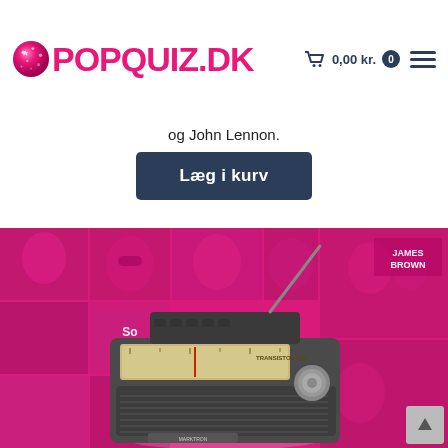POPQUIZ.DK  0,00 kr. 0
og John Lennon.
Læg i kurv
[Figure (photo): Pink collage background with magazine covers featuring various artists and celebrities, with a vintage transistor radio (Transistor 885) prominently displayed in the center foreground. James Brown text visible on right side.]